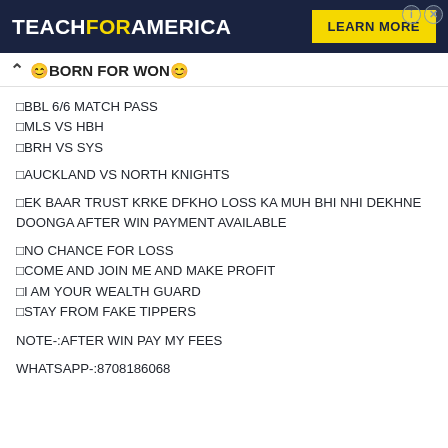[Figure (other): Teach For America advertisement banner with dark navy background. Left: TEACHFORAMERICA logo in white/yellow. Right: yellow LEARN MORE button. Top right: info and close icons.]
☺BORN FOR WON☺
✦BBL 6/6 MATCH PASS
✦MLS VS HBH
✦BRH VS SYS
✦AUCKLAND VS NORTH KNIGHTS
✦EK BAAR TRUST KRKE DFKHO LOSS KA MUH BHI NHI DEKHNE DOONGA AFTER WIN PAYMENT AVAILABLE
✦NO CHANCE FOR LOSS
✦COME AND JOIN ME AND MAKE PROFIT
✦I AM YOUR WEALTH GUARD
✦STAY FROM FAKE TIPPERS
NOTE-:AFTER WIN PAY MY FEES
WHATSAPP-:8708186068